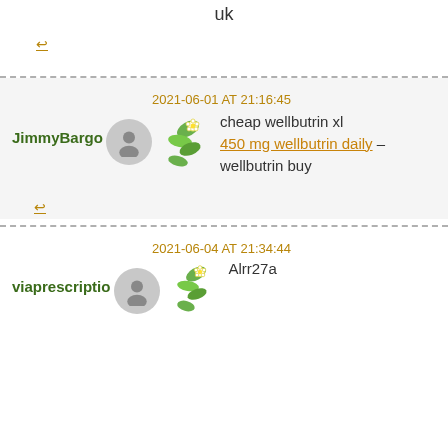uk
↩ (reply link)
2021-06-01 AT 21:16:45
JimmyBargo
cheap wellbutrin xl 450 mg wellbutrin daily – wellbutrin buy
↩ (reply link)
2021-06-04 AT 21:34:44
viaprescriptio
Alrr27a